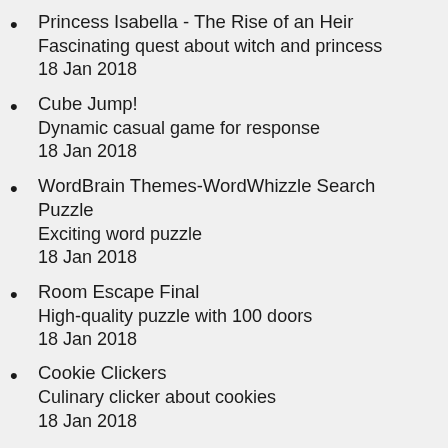Princess Isabella - The Rise of an Heir
Fascinating quest about witch and princess
18 Jan 2018
Cube Jump!
Dynamic casual game for response
18 Jan 2018
WordBrain Themes-WordWhizzle Search Puzzle
Exciting word puzzle
18 Jan 2018
Room Escape Final
High-quality puzzle with 100 doors
18 Jan 2018
Cookie Clickers
Culinary clicker about cookies
18 Jan 2018
One More Line
Nice casual game for response
18 Jan 2018